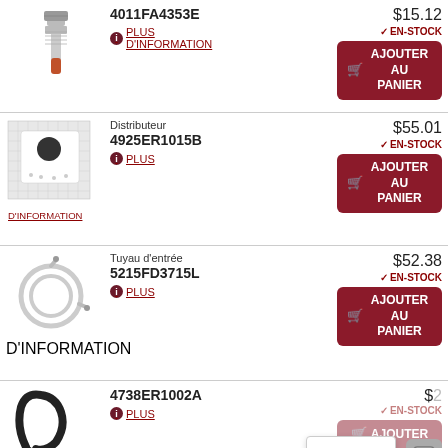[Figure (photo): Metal screw/bolt part with orange tip]
4011FA4353E
PLUS D'INFORMATION
$15.12
EN-STOCK
AJOUTER AU PANIER
[Figure (photo): White plastic distributor part]
Distributeur
4925ER1015B
PLUS
D'INFORMATION
$55.01
EN-STOCK
AJOUTER AU PANIER
[Figure (photo): Metal hose inlet tube coiled]
Tuyau d'entrée
5215FD3715L
PLUS
D'INFORMATION
$52.38
EN-STOCK
AJOUTER AU PANIER
[Figure (photo): Black rubber hose part]
4738ER1002A
PLUS
Contact
EN-STOCK
AJOUTER